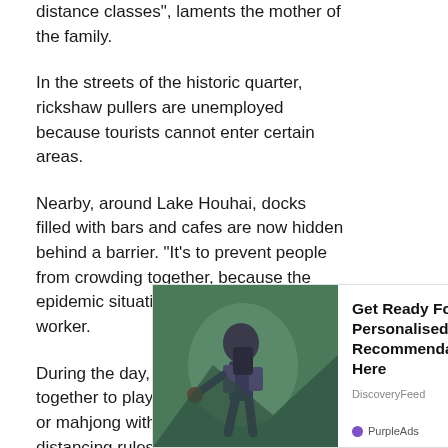distance classes", laments the mother of the family.
In the streets of the historic quarter, rickshaw pullers are unemployed because tourists cannot enter certain areas.
Nearby, around Lake Houhai, docks filled with bars and cafes are now hidden behind a barrier. “It’s to prevent people from crowding together, because the epidemic situation is serious”, explains a worker.
During the day, though, local retirees get together to play cards, checkers, chess or mahjong without worrying about distancing rules.
“We come here every day after lunch and play until sunset… “We’ve… don’t stop us…
[Figure (photo): Advertisement overlay showing a hiker and text: Get Ready For More Personalised Recommendations Here. DiscoveryFeed. PurpleAds.]